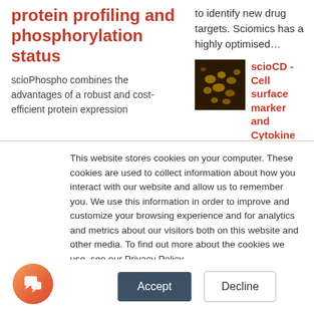protein profiling and phosphorylation status
scioPhospho combines the advantages of a robust and cost-efficient protein expression
to identify new drug targets. Sciomics has a highly optimised…
[Figure (photo): Dark microscopy image showing cell surface markers in golden/yellow on dark brown background]
scioCD - Cell surface marker and Cytokine
This website stores cookies on your computer. These cookies are used to collect information about how you interact with our website and allow us to remember you. We use this information in order to improve and customize your browsing experience and for analytics and metrics about our visitors both on this website and other media. To find out more about the cookies we use, see our Privacy Policy
If you decline, your information won't be tracked when you visit this website. A single cookie will be used in your browser to remember your preference not to be tracked.